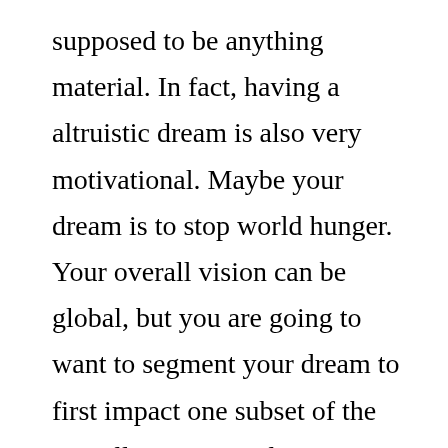supposed to be anything material. In fact, having a altruistic dream is also very motivational. Maybe your dream is to stop world hunger. Your overall vision can be global, but you are going to want to segment your dream to first impact one subset of the overall vision. So eliminating hunger in Citrus County, Florida is probably your first dream. Work toward that dream and as you get close to achieving that vision, zoom out and add the rest of Florida to your dream, so